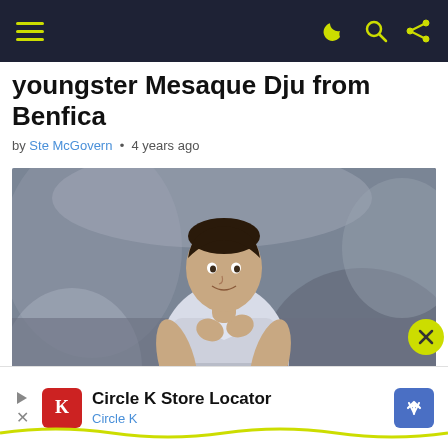Navigation bar with hamburger menu and icons
youngster Mesaque Dju from Benfica
by Ste McGovern • 4 years ago
[Figure (photo): Soccer player in white jersey with Estrella Galicia sponsor, pulling up shirt to celebrate]
Circle K Store Locator Circle K